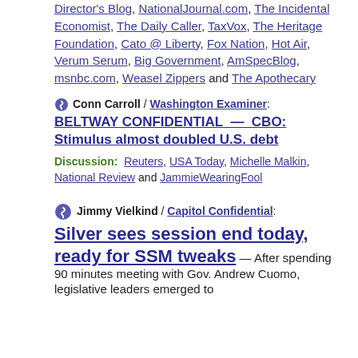Director's Blog, NationalJournal.com, The Incidental Economist, The Daily Caller, TaxVox, The Heritage Foundation, Cato @ Liberty, Fox Nation, Hot Air, Verum Serum, Big Government, AmSpecBlog, msnbc.com, Weasel Zippers and The Apothecary
Conn Carroll / Washington Examiner: BELTWAY CONFIDENTIAL — CBO: Stimulus almost doubled U.S. debt
Discussion: Reuters, USA Today, Michelle Malkin, National Review and JammieWearingFool
Jimmy Vielkind / Capitol Confidential: Silver sees session end today, ready for SSM tweaks — After spending 90 minutes meeting with Gov. Andrew Cuomo, legislative leaders emerged to